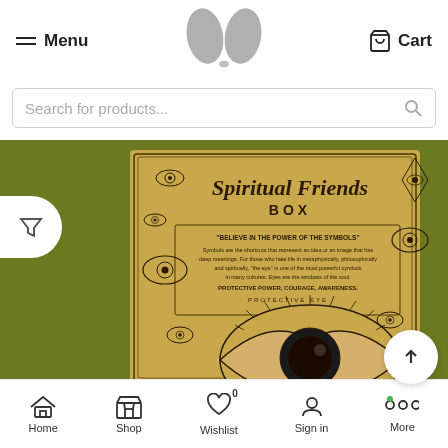Menu | [Logo] | Cart
Search for products...
[Figure (photo): Spiritual Friends Box product on olive green background — a kraft-paper box decorated with eye symbols, titled 'Spiritual Friends BOX' with text about 'BELIEVE IN THE POWER OF THE SYMBOLS' and 'PROTECTIVE POWER, COURAGE, AWARENESS'. Features a large protective eye illustration.]
Home | Shop | Wishlist 0 | Sign in | More